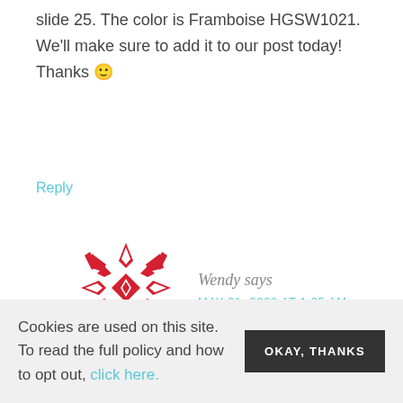slide 25. The color is Framboise HGSW1021. We'll make sure to add it to our post today! Thanks 🙂
Reply
[Figure (illustration): Red geometric quilt-pattern snowflake avatar icon for user Wendy]
Wendy says
MAY 31, 2020 AT 1:35 AM
Cookies are used on this site. To read the full policy and how to opt out, click here.
OKAY, THANKS